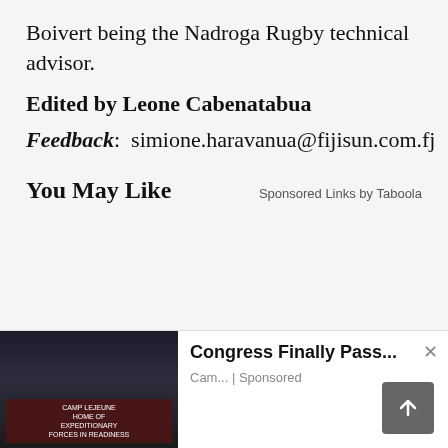Boivert being the Nadroga Rugby technical advisor.
Edited by Leone Cabenatabua
Feedback:  simione.haravanua@fijisun.com.fj
You May Like
Sponsored Links by Taboola
[Figure (screenshot): Advertisement bar at bottom showing Camp Lejeune image on left and 'Congress Finally Pass...' ad text with Cam... | Sponsored label and a close button. A back-to-top arrow button appears bottom right.]